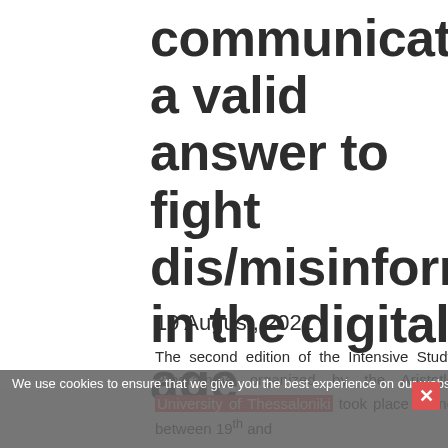communication: a valid answer to fight dis/misinformation in the digital age
19 August, 2021
We use cookies to ensure that we give you the best experience on our website. If you continue to use this site we will assume that you are happy with it.
The second edition of the Intensive Study Programme organized by the Aristotle University of Thessaloniki took place online between 19th and